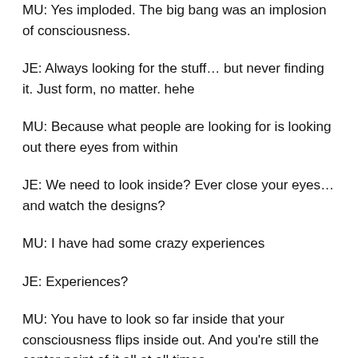MU: Yes imploded. The big bang was an implosion of consciousness.
JE: Always looking for the stuff… but never finding it. Just form, no matter. hehe
MU: Because what people are looking for is looking out there eyes from within
JE: We need to look inside? Ever close your eyes… and watch the designs?
MU: I have had some crazy experiences
JE: Experiences?
MU: You have to look so far inside that your consciousness flips inside out. And you're still the center point of it all at all times.